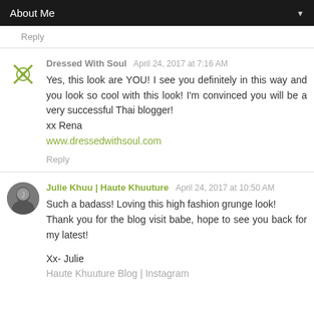About Me
Reply
Dressed With Soul  April 24, 2017 at 7:16 AM
Yes, this look are YOU! I see you definitely in this way and you look so cool with this look! I'm convinced you will be a very successful Thai blogger!
xx Rena
www.dressedwithsoul.com
Reply
Julie Khuu | Haute Khuuture  April 24, 2017 at 10:50 AM
Such a badass! Loving this high fashion grunge look!
Thank you for the blog visit babe, hope to see you back for my latest!

Xx- Julie
Haute Khuuture Blog | Instagram